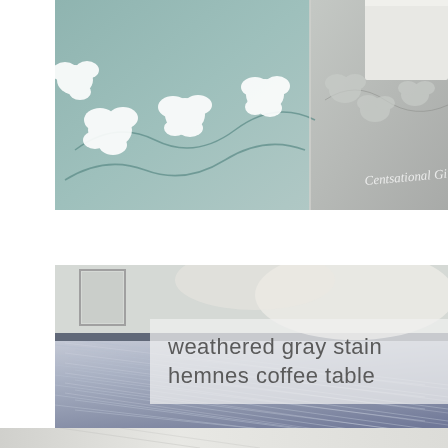[Figure (photo): Close-up photo of a floral patterned rug in teal/gray tones with white floral motifs. A white furniture leg visible. Watermark text 'Centsational Girl' in script on the right side.]
[Figure (photo): Photo of a weathered gray stained Hemnes coffee table showing wood grain texture. Light blue-gray stained wood planks visible in close-up perspective. Semi-transparent text overlay reads 'weathered gray stain hemnes coffee table'.]
weathered gray stain hemnes coffee table